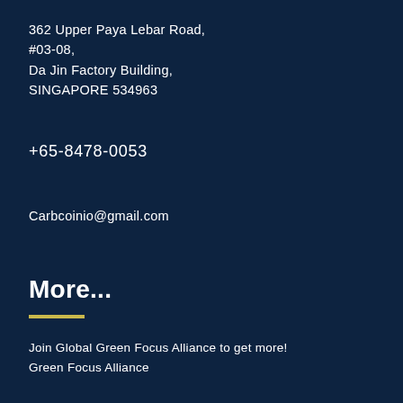362 Upper Paya Lebar Road,
#03-08,
Da Jin Factory Building,
SINGAPORE 534963
+65-8478-0053
Carbcoinio@gmail.com
More...
Join Global Green Focus Alliance to get more!
Green Focus Alliance